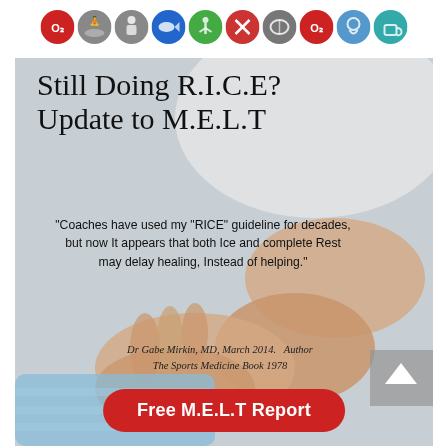[Figure (illustration): Row of colored circular icons representing health/wellness categories: oxygen (red), meditation (grey), body (grey), nutrition (blue), activity (green), tools (red), brain (grey), oxygen (red), head (blue), tea/wellness (teal)]
[Figure (photo): Medical/sports therapy photo showing hands massaging or treating a foot/ankle. Background shows a clinical setting with blue towel. Overlaid with article title 'Still Doing R.I.C.E? Update to M.E.L.T', a quote from Dr Gabe Mirkin, and a red CTA button 'Free M.E.L.T Report'.]
Still Doing R.I.C.E? Update to M.E.L.T
"Coaches have used my "RICE" guideline for decades, but now It appears that both Ice and complete Rest may delay healing, Instead of helping."
Dr Gabe Mirkin, MD, March 2014.   Author The Sports Medicine Book 1978
Free M.E.L.T Report